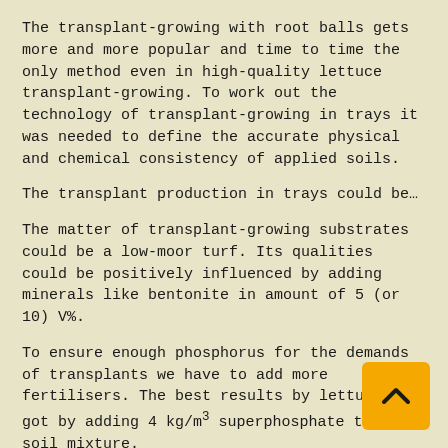The transplant-growing with root balls gets more and more popular and time to time the only method even in high-quality lettuce transplant-growing. To work out the technology of transplant-growing in trays it was needed to define the accurate physical and chemical consistency of applied soils.
The transplant production in trays could be…
The matter of transplant-growing substrates could be a low-moor turf. Its qualities could be positively influenced by adding minerals like bentonite in amount of 5 (or 10) V%.
To ensure enough phosphorus for the demands of transplants we have to add more fertilisers. The best results by lettuce we got by adding 4 kg/m³ superphosphate to the soil mixture.
[Figure (other): Orange square button with upward-pointing chevron arrow, used as a back-to-top navigation button]